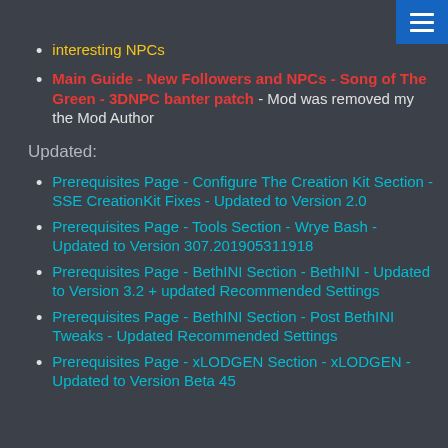interesting NPCs
Main Guide - New Followers and NPCs - Song of The Green - 3DNPC banter patch - Mod was removed my the Mod Author
Updated:
Prerequisites Page - Configure The Creation Kit Section - SSE CreationKit Fixes - Updated to Version 2.0
Prerequisites Page - Tools Section - Wrye Bash - Updated to Version 307.201905311918
Prerequisites Page - BethINI Section - BethINI - Updated to Version 3.2 + updated Recommended Settings
Prerequisites Page - BethINI Section - Post BethINI Tweaks - Updated Recommended Settings
Prerequisites Page - xLODGEN Section - xLODGEN - Updated to Version Beta 45